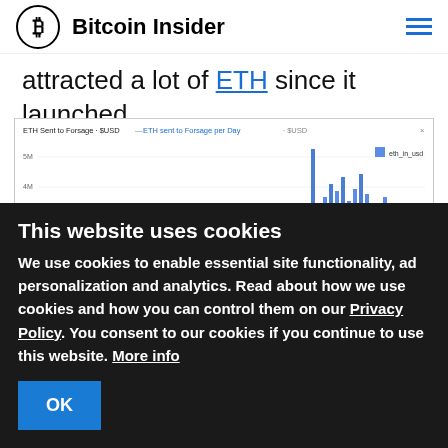Bitcoin Insider
attracted a lot of ETH since it launched.
[Figure (continuous-plot): Area/bar chart showing ETH Sent to Forsage in $USD and ETH sent to Forsage per Day in $USD. The chart shows a large spike of blue bars concentrated in the right portion, with y-axis labels 5M, 4M, 2M, 2M from top to bottom. Legend shows eth_in_usd.]
This website uses cookies
We use cookies to enable essential site functionality, ad personalization and analytics. Read about how we use cookies and how you can control them on our Privacy Policy. You consent to our cookies if you continue to use this website. More info
OK